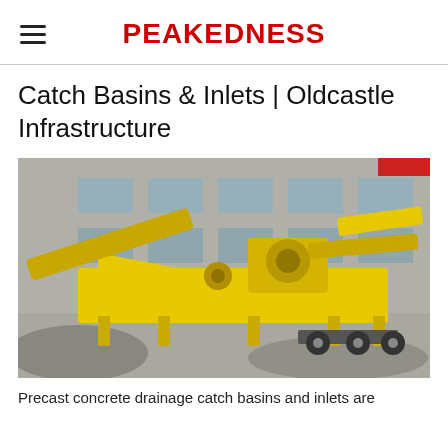PEAKEDNESS
Catch Basins & Inlets | Oldcastle Infrastructure
[Figure (photo): Yellow heavy industrial crushing/screening plant machinery parked in front of a large grey industrial building. The machine is mounted on a wheeled trailer with conveyor belts, hoppers, and a jaw crusher unit. Gravel and rock aggregate is piled on the ground in front.]
Precast concrete drainage catch basins and inlets are